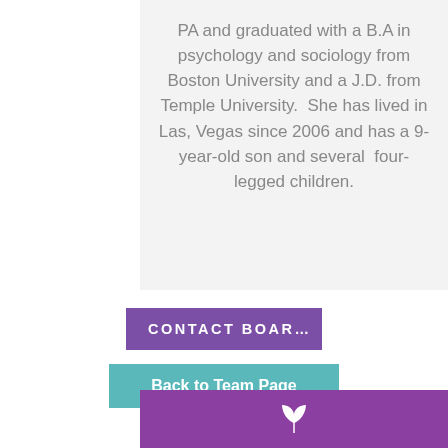PA and graduated with a B.A in psychology and sociology from Boston University and a J.D. from Temple University.  She has lived in Las, Vegas since 2006 and has a 9-year-old son and several  four-legged children.
CONTACT BOAR…
Back to Team Page
[Figure (logo): Purple footer bar with a small white leaf/plant icon centered]